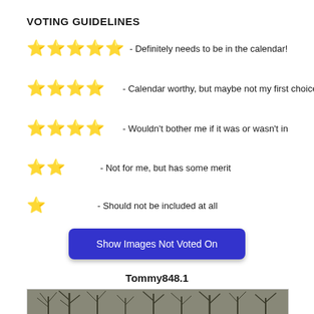VOTING GUIDELINES
★★★★★ - Definitely needs to be in the calendar!
★★★★ - Calendar worthy, but maybe not my first choice
★★★★ - Wouldn't bother me if it was or wasn't in
★★★ - Not for me, but has some merit
★ - Should not be included at all
Show Images Not Voted On
Tommy848.1
[Figure (photo): Black and white photograph of bare winter trees]